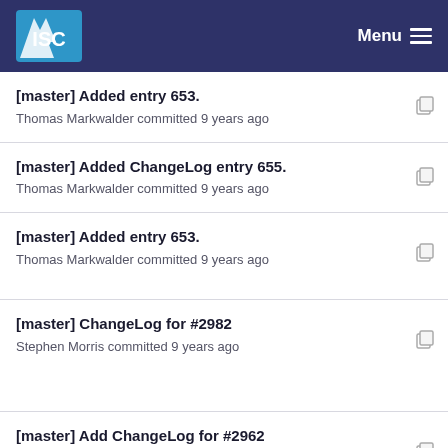ISC Menu
[master] Added entry 653.
Thomas Markwalder committed 9 years ago
[master] Added ChangeLog entry 655.
Thomas Markwalder committed 9 years ago
[master] Added entry 653.
Thomas Markwalder committed 9 years ago
[master] ChangeLog for #2982
Stephen Morris committed 9 years ago
[master] Add ChangeLog for #2962
Mukund Sivaraman committed 9 years ago